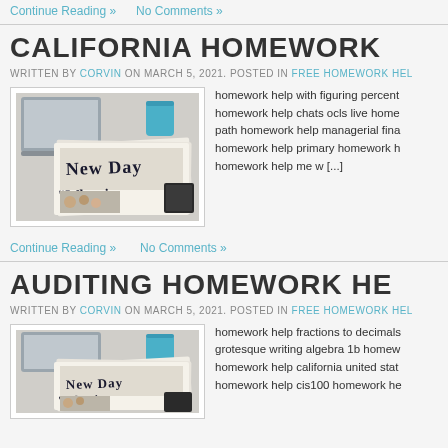Continue Reading »   No Comments »
CALIFORNIA HOMEWORK
WRITTEN BY CORVIN ON MARCH 5, 2021. POSTED IN FREE HOMEWORK HELP
[Figure (photo): Photo of newspapers stacked on a desk with 'New Day' visible on one newspaper cover]
homework help with figuring percent homework help chats ocls live home path homework help managerial fina homework help primary homework h homework help me w [...]
Continue Reading »   No Comments »
AUDITING HOMEWORK HELP
WRITTEN BY CORVIN ON MARCH 5, 2021. POSTED IN FREE HOMEWORK HELP
[Figure (photo): Photo of newspapers stacked on a desk, similar to the image above]
homework help fractions to decimals grotesque writing algebra 1b homew homework help california united stat homework help cis100 homework he